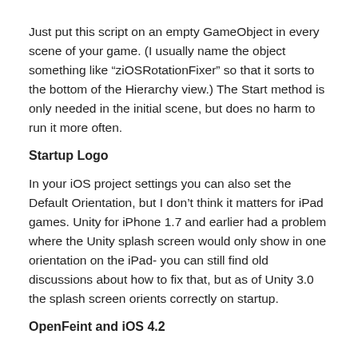Just put this script on an empty GameObject in every scene of your game. (I usually name the object something like “ziOSRotationFixer” so that it sorts to the bottom of the Hierarchy view.) The Start method is only needed in the initial scene, but does no harm to run it more often.
Startup Logo
In your iOS project settings you can also set the Default Orientation, but I don’t think it matters for iPad games. Unity for iPhone 1.7 and earlier had a problem where the Unity splash screen would only show in one orientation on the iPad- you can still find old discussions about how to fix that, but as of Unity 3.0 the splash screen orients correctly on startup.
OpenFeint and iOS 4.2